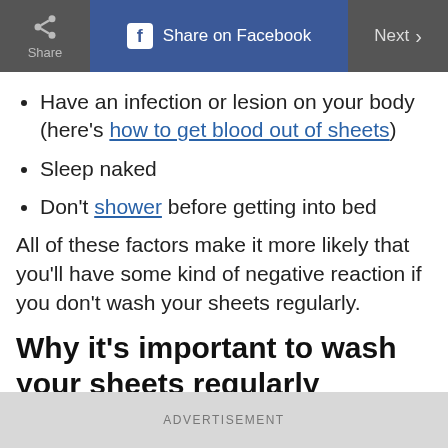Share | Share on Facebook | Next
Have an infection or lesion on your body (here's how to get blood out of sheets)
Sleep naked
Don't shower before getting into bed
All of these factors make it more likely that you'll have some kind of negative reaction if you don't wash your sheets regularly.
Why it's important to wash your sheets regularly
ADVERTISEMENT